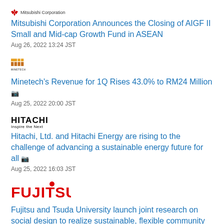[Figure (logo): Mitsubishi Corporation logo with red diamond symbol and text]
Mitsubishi Corporation Announces the Closing of AIGF II Small and Mid-cap Growth Fund in ASEAN
Aug 26, 2022 13:24 JST
[Figure (logo): Minetech logo — orange and brown grid/building icon with MINETECH text]
Minetech's Revenue for 1Q Rises 43.0% to RM24 Million 📷
Aug 25, 2022 20:00 JST
[Figure (logo): Hitachi logo — bold HITACHI text with Inspire the Next tagline]
Hitachi, Ltd. and Hitachi Energy are rising to the challenge of advancing a sustainable energy future for all 📷
Aug 25, 2022 16:03 JST
[Figure (logo): Fujitsu logo in red with stylized lettering]
Fujitsu and Tsuda University launch joint research on social design to realize sustainable, flexible community health care amidst aging society 📷